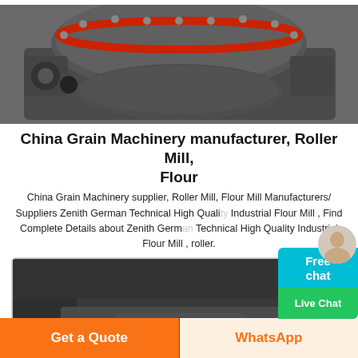[Figure (photo): Industrial grain milling machine (roller mill) in grey color with red ring detail, photographed from above/side angle]
China Grain Machinery manufacturer, Roller Mill, Flour
China Grain Machinery supplier, Roller Mill, Flour Mill Manufacturers/ Suppliers Zenith German Technical High Quality Industrial Flour Mill , Find Complete Details about Zenith German Technical High Quality Industrial Flour Mill , roller.
[Figure (photo): Interior view of industrial flour mill machinery showing dark metal chamber with rounded rectangular access panel secured by bolts]
Get a Quote
WhatsApp